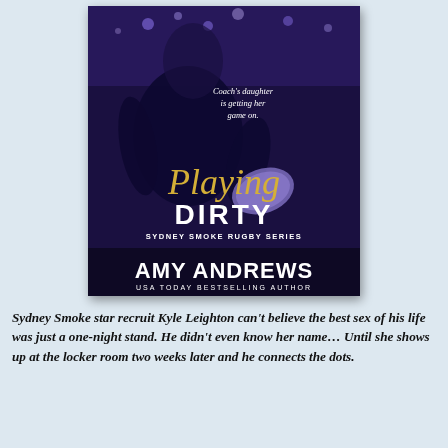[Figure (illustration): Book cover for 'Playing Dirty' by Amy Andrews, Sydney Smoke Rugby Series. Dark purple-tinted image of a rugby player holding a ball. Text overlay reads: 'Coach's daughter is getting her game on.' Title in gold/white script and bold lettering. Author name in large white bold font. Subtitle: USA Today Bestselling Author.]
Sydney Smoke star recruit Kyle Leighton can't believe the best sex of his life was just a one-night stand. He didn't even know her name… Until she shows up at the locker room two weeks later and he connects the dots.